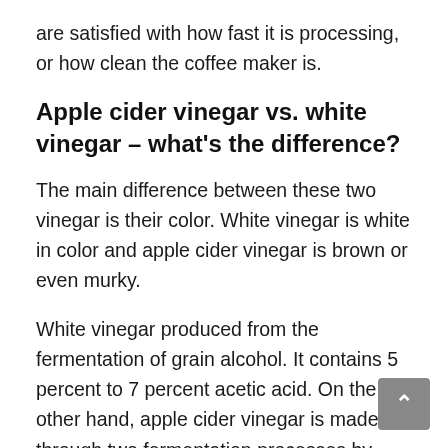are satisfied with how fast it is processing, or how clean the coffee maker is.
Apple cider vinegar vs. white vinegar – what's the difference?
The main difference between these two vinegar is their color. White vinegar is white in color and apple cider vinegar is brown or even murky.
White vinegar produced from the fermentation of grain alcohol. It contains 5 percent to 7 percent acetic acid. On the other hand, apple cider vinegar is made through two fermentation processes by